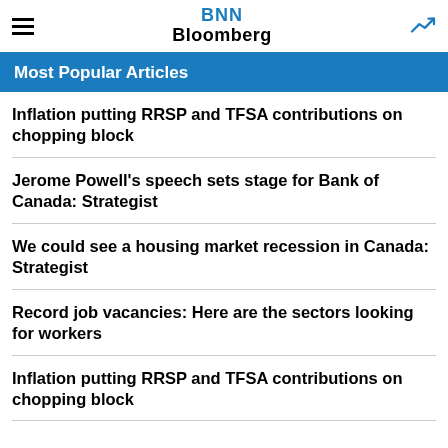BNN Bloomberg
Most Popular Articles
Inflation putting RRSP and TFSA contributions on chopping block
Jerome Powell's speech sets stage for Bank of Canada: Strategist
We could see a housing market recession in Canada: Strategist
Record job vacancies: Here are the sectors looking for workers
Inflation putting RRSP and TFSA contributions on chopping block